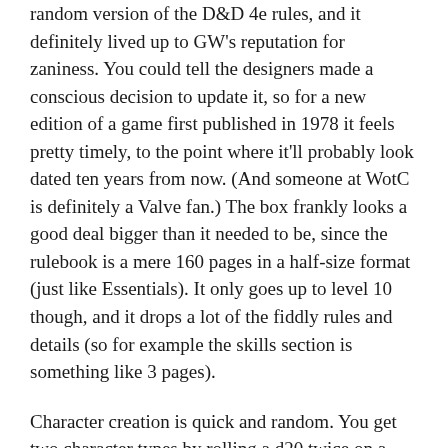random version of the D&D 4e rules, and it definitely lived up to GW's reputation for zaniness. You could tell the designers made a conscious decision to update it, so for a new edition of a game first published in 1978 it feels pretty timely, to the point where it'll probably look dated ten years from now. (And someone at WotC is definitely a Valve fan.) The box frankly looks a good deal bigger than it needed to be, since the rulebook is a mere 160 pages in a half-size format (just like Essentials). It only goes up to level 10 though, and it drops a lot of the fiddly rules and details (so for example the skills section is something like 3 pages).
Character creation is quick and random. You get two character types by rolling a d20 twice on a chart–I got Giant and Plant–which give you an encounter power each and certain other bonuses (and in the case of Plant, vulnerable 5 fire). Although it's based on 4e, it drops the use of roles, and characters don't have all many powers to juggle. You